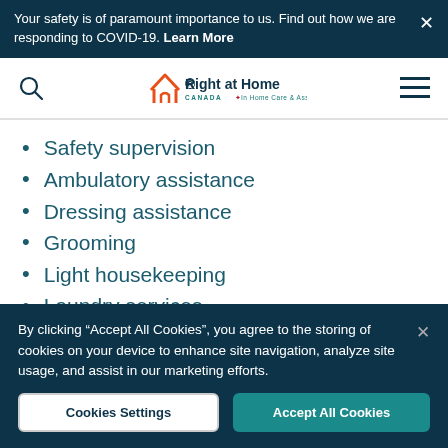Your safety is of paramount importance to us. Find out how we are responding to COVID-19. Learn More
[Figure (logo): Right at Home Canada - In Home Care & Assistance logo with orange house icon]
Safety supervision
Ambulatory assistance
Dressing assistance
Grooming
Light housekeeping
Laundry services
By clicking “Accept All Cookies”, you agree to the storing of cookies on your device to enhance site navigation, analyze site usage, and assist in our marketing efforts.